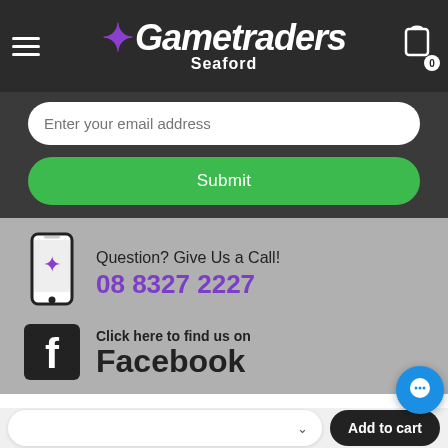[Figure (logo): Gametraders Seaford logo with butterfly icon on dark header background, hamburger menu on left, shopping cart on right]
Enter your email address
Submit
Question? Give Us a Call!
08 8327 2227
Click here to find us on Facebook
Location
Add to cart